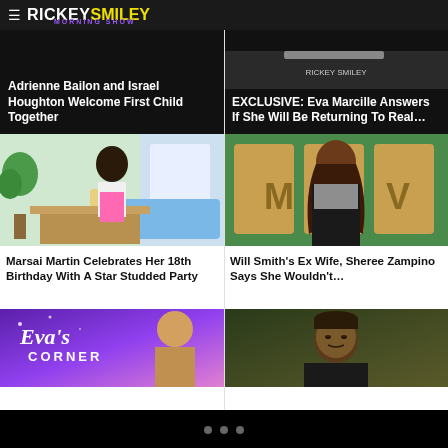RICKEY SMILEY MORNING SHOW
Adrienne Bailon and Israel Houghton Welcome First Child Together
EXCLUSIVE: Eva Marcille Answers If She Will Be Returning To Real...
[Figure (photo): Marsai Martin at office/studio setting wearing white top and pink skirt]
Marsai Martin Celebrates Her 18th Birthday With A Star Studded Party
[Figure (photo): Sheree Zampino at event in front of MOV backdrop wearing black and silver outfit]
Will Smith's Ex Wife, Sheree Zampino Says She Wouldn't...
[Figure (photo): Eva's Corner show promo graphic with Eva in purple/pink background]
[Figure (photo): Man portrait with dark olive/green background]